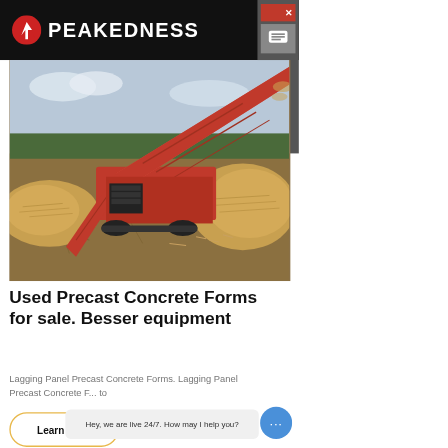PEAKEDNESS
[Figure (photo): Large red industrial screening/crushing equipment (Terex Finlay or similar) operating outdoors with piles of wood chips/aggregate material, trees in background]
Used Precast Concrete Forms for sale. Besser equipment
Lagging Panel Precast Concrete Forms. Lagging Panel Precast Concrete F... to
Hey, we are live 24/7. How may I help you?
Learn More